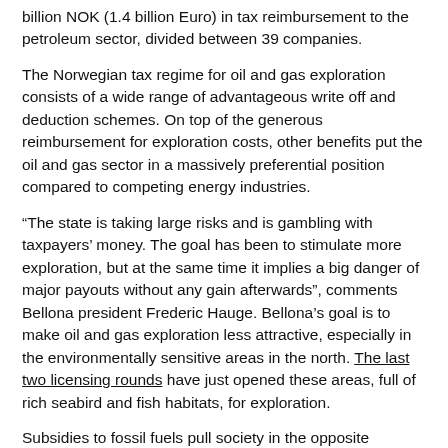billion NOK (1.4 billion Euro) in tax reimbursement to the petroleum sector, divided between 39 companies.
The Norwegian tax regime for oil and gas exploration consists of a wide range of advantageous write off and deduction schemes. On top of the generous reimbursement for exploration costs, other benefits put the oil and gas sector in a massively preferential position compared to competing energy industries.
“The state is taking large risks and is gambling with taxpayers’ money. The goal has been to stimulate more exploration, but at the same time it implies a big danger of major payouts without any gain afterwards”, comments Bellona president Frederic Hauge. Bellona’s goal is to make oil and gas exploration less attractive, especially in the environmentally sensitive areas in the north. The last two licensing rounds have just opened these areas, full of rich seabird and fish habitats, for exploration.
Subsidies to fossil fuels pull society in the opposite direction of limiting climate change to 2º Celsius. Moreover, the subsidisation of oil and gas penalises investments that would work to reduce emissions and add to the already overflowing carbon budget. The